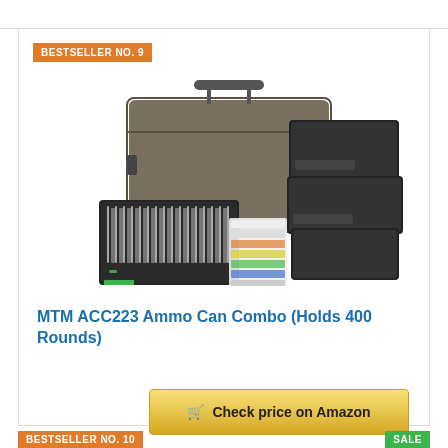BESTSELLER NO. 9
[Figure (photo): MTM ACC223 Ammo Can Combo product photo showing a tan/dark earth colored military-style ammo can, three black stacked ammo boxes, one black bullet tray with rounds loaded, and colorful label stickers.]
MTM ACC223 Ammo Can Combo (Holds 400 Rounds)
Check price on Amazon
BESTSELLER NO. 10
SALE